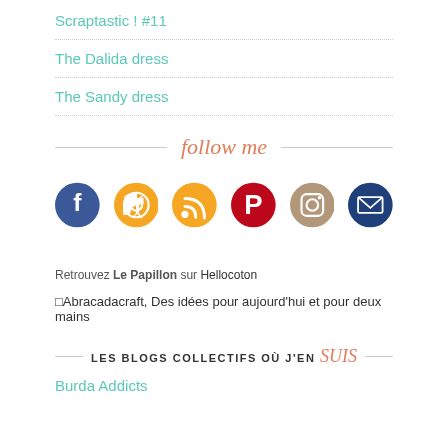Scraptastic ! #11
The Dalida dress
The Sandy dress
follow me
[Figure (infographic): Five circular social media icons in a row: Facebook (blue), RSS (orange/yellow), Pinterest (red), Instagram (tan/brown), Email (dark blue)]
Retrouvez Le Papillon sur Hellocoton
Abracadacraft, Des idées pour aujourd'hui et pour deux mains
LES BLOGS COLLECTIFS OÙ J'EN suis
Burda Addicts